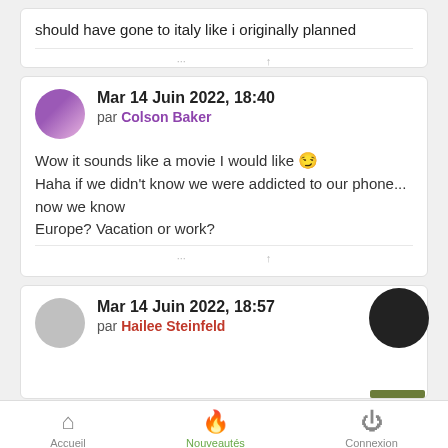should have gone to italy like i originally planned
Mar 14 Juin 2022, 18:40
par Colson Baker
Wow it sounds like a movie I would like 😏
Haha if we didn't know we were addicted to our phone... now we know
Europe? Vacation or work?
Mar 14 Juin 2022, 18:57
par Hailee Steinfeld
Accueil    Nouveautés    Connexion